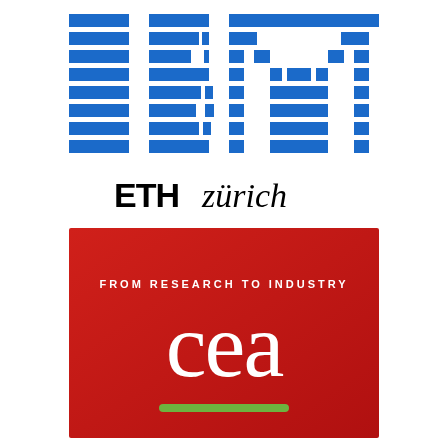[Figure (logo): IBM logo — blue horizontal-striped letters I, B, M on white background]
[Figure (logo): ETH Zürich logo — bold black ETH followed by italic zürich text]
[Figure (logo): CEA logo — red square background with white 'cea' text, tagline 'FROM RESEARCH TO INDUSTRY', green bar at bottom]